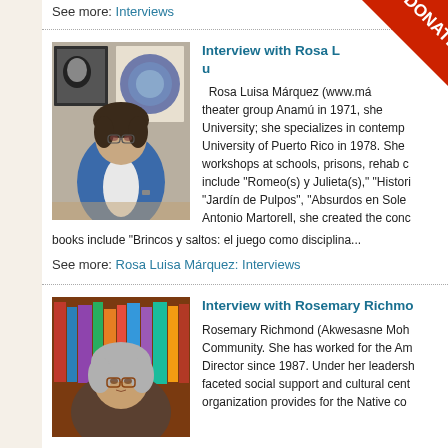See more: Interviews
[Figure (photo): Photo of Rosa Luisa Márquez seated at a desk with artwork on the wall behind her]
Interview with Rosa L[uisa Márq]u[ez]
Rosa Luisa Márquez (www.má... theater group Anamú in 1971, she ... University; she specializes in contemp... University of Puerto Rico in 1978. She ... workshops at schools, prisons, rehab c... include "Romeo(s) y Julieta(s)," "Histori... "Jardín de Pulpos", "Absurdos en Sole... Antonio Martorell, she created the conc... books include "Brincos y saltos: el juego como disciplina...
See more: Rosa Luisa Márquez: Interviews
[Figure (photo): Photo of Rosemary Richmond, a woman with glasses and gray hair]
Interview with Rosemary Richmo[nd]
Rosemary Richmond (Akwesasne Moh... Community. She has worked for the Am... Director since 1987. Under her leadersh... faceted social support and cultural cent... organization provides for the Native co...